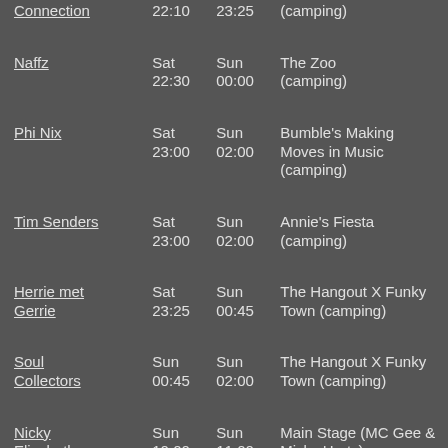| Artist | Start | End | Venue |
| --- | --- | --- | --- |
| Connection | 22:10 | 23:25 | (camping) |
| Naffz | Sat 22:30 | Sun 00:00 | The Zoo (camping) |
| Phi Nix | Sat 23:00 | Sun 02:00 | Bumble's Making Moves in Music (camping) |
| Tim Senders | Sat 23:00 | Sun 02:00 | Annie's Fiesta (camping) |
| Herrie met Gerrie | Sat 23:25 | Sun 00:45 | The Hangout X Funky Town (camping) |
| Soul Collectors | Sun 00:45 | Sun 02:00 | The Hangout X Funky Town (camping) |
| Nicky Elisabeth | Sun 10:00 | Sun 11:00 | Main Stage (MC Gee & Micky Hurts) |